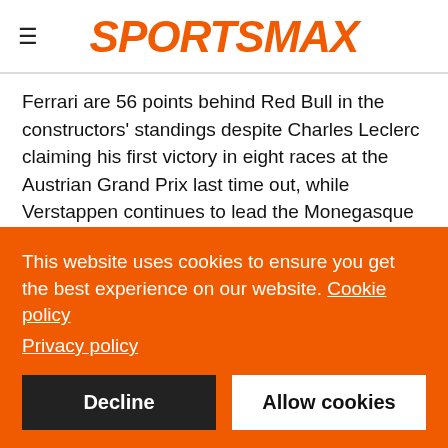SPORTSMAX
Ferrari are 56 points behind Red Bull in the constructors' standings despite Charles Leclerc claiming his first victory in eight races at the Austrian Grand Prix last time out, while Verstappen continues to lead the Monegasque star in the drivers' championship.
With Carlos Sainz triumphing at Silverstone, Ferrari have posted back-to-back wins for the first time this season but have been hampered in their bid to compete with Red Bull by issues with their car.
This website uses cookies to ensure you get the best experience on our website. Cookie policy Privacy policy
Decline
Allow cookies